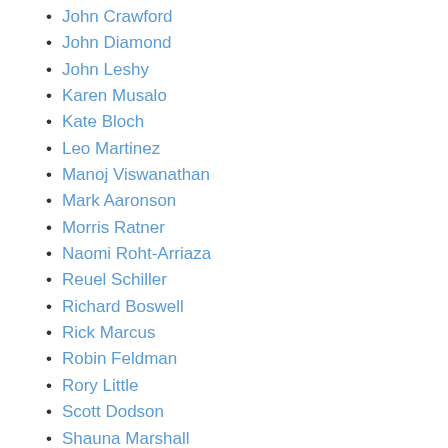John Crawford
John Diamond
John Leshy
Karen Musalo
Kate Bloch
Leo Martinez
Manoj Viswanathan
Mark Aaronson
Morris Ratner
Naomi Roht-Arriaza
Reuel Schiller
Richard Boswell
Rick Marcus
Robin Feldman
Rory Little
Scott Dodson
Shauna Marshall
Veena Dubal
Zach Price
Subject Matter
Administrative Law